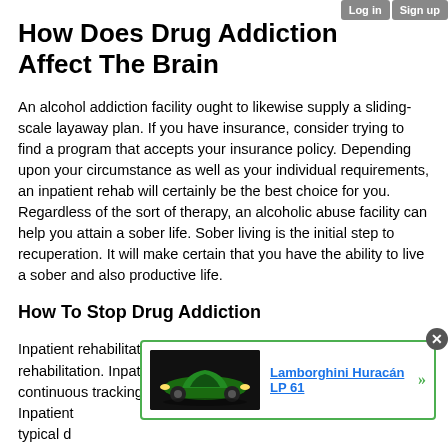Log in  Sign up
How Does Drug Addiction Affect The Brain
An alcohol addiction facility ought to likewise supply a sliding-scale layaway plan. If you have insurance, consider trying to find a program that accepts your insurance policy. Depending upon your circumstance as well as your individual requirements, an inpatient rehab will certainly be the best choice for you. Regardless of the sort of therapy, an alcoholic abuse facility can help you attain a sober life. Sober living is the initial step to recuperation. It will make certain that you have the ability to live a sober and also productive life.
How To Stop Drug Addiction
Inpatient rehabilitation is the most intensive form of alcohol rehabilitation. Inpatient rehabilitation is created to give continuous tracking                                                                    y. Inpatient                                                                     r typical d                                                                     recuperation. A residential alcohol therapy center will certainly
[Figure (other): Advertisement overlay showing a green Lamborghini Huracán LP 61 car image with a close button and link text 'Lamborghini Huracán LP 61' in blue, with green arrow, bordered in green.]